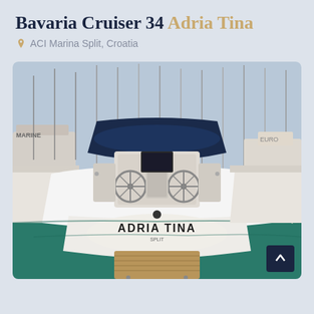Bavaria Cruiser 34 Adria Tina
ACI Marina Split, Croatia
[Figure (photo): Aerial stern view of a Bavaria Cruiser 34 sailboat named ADRIA TINA docked at ACI Marina Split, Croatia. The boat is white with a blue bimini top, showing dual steering wheels, cockpit seating, and a teak swim platform. Surrounding boats and marina infrastructure are visible in the background with turquoise water.]